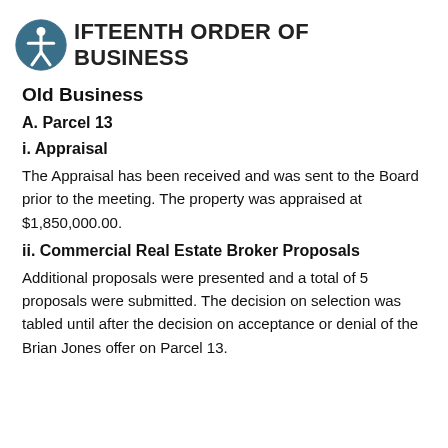FIFTEENTH ORDER OF BUSINESS
Old Business
A. Parcel 13
i. Appraisal
The Appraisal has been received and was sent to the Board prior to the meeting. The property was appraised at $1,850,000.00.
ii. Commercial Real Estate Broker Proposals
Additional proposals were presented and a total of 5 proposals were submitted. The decision on selection was tabled until after the decision on acceptance or denial of the Brian Jones offer on Parcel 13.